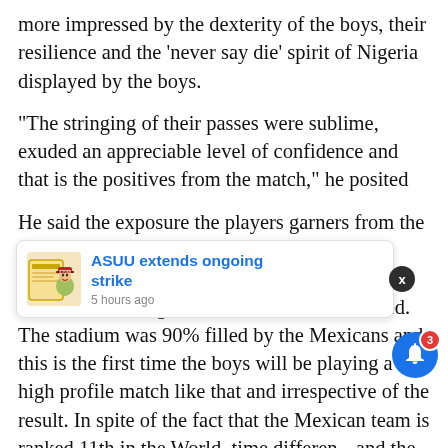more impressed by the dexterity of the boys, their resilience and the 'never say die' spirit of Nigeria displayed by the boys.
“The stringing of their passes were sublime, exuded an appreciable level of confidence and that is the positives from the match,” he posited
He said the exposure the players garners from the match will go a long way to boost their confidence. “The exposure the boys got from a match of that magnitude cannot be undermined. The stadium was 90% filled by the Mexicans and this is the first time the boys will be playing a high profile match like that and irrespective of the result. In spite of the fact that the Mexican team is ranked 11th in the World, time difference and the Super Eagles just trained twice and played together for the first time, held their own and made us proud.”
He further assured Nigerians that the home-based
[Figure (other): Notification popup overlay showing 'ASUU extends ongoing strike' with timestamp '5 hours ago', a cartoon illustration icon, a dark close button (X), and a blue notification bell icon with badge count 3]